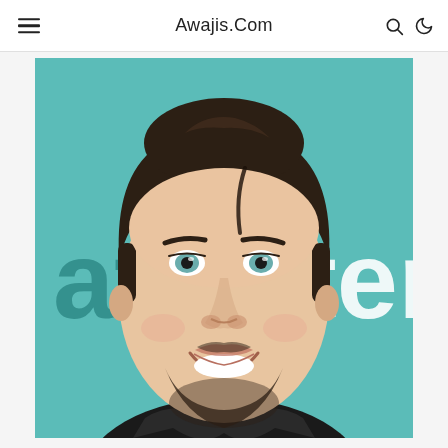Awajis.Com
[Figure (photo): Young man with dark styled hair, blue-green eyes, beard, smiling at camera. He is wearing a dark jacket. Behind him is a teal/turquoise background with partial text reading 'at' on the left and 'nteri' on the right, suggesting an Entertainment Weekly event backdrop.]